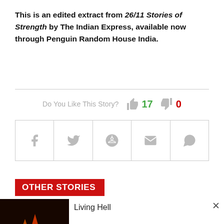This is an edited extract from 26/11 Stories of Strength by The Indian Express, available now through Penguin Random House India.
[Figure (infographic): Like/dislike row with thumbs up icon showing 17 and thumbs down icon showing 0, plus social share bar with Facebook, Twitter, Reddit, Email, WhatsApp icons]
OTHER STORIES
Living Hell